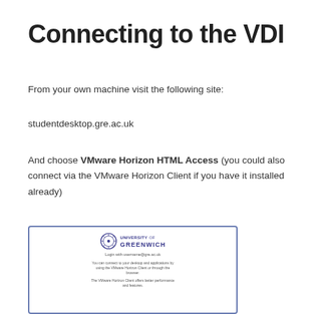Connecting to the VDI
From your own machine visit the following site:
studentdesktop.gre.ac.uk
And choose VMware Horizon HTML Access (you could also connect via the VMware Horizon Client if you have it installed already)
[Figure (screenshot): Screenshot of the University of Greenwich VMware Horizon login page showing the university logo, login prompt with username@gre.ac.uk, and text about connecting via VMware Horizon Client or browser.]